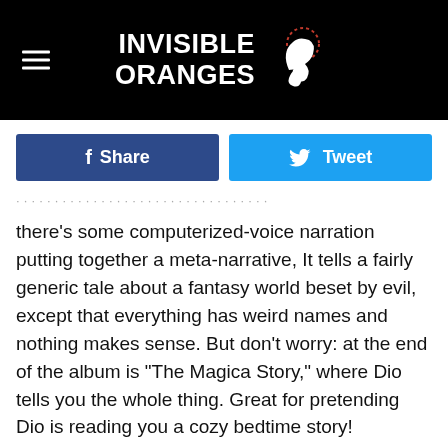[Figure (logo): Invisible Oranges website header with hamburger menu icon on left, site name 'INVISIBLE ORANGES' in bold white text centered, and a hand/orange logo icon to the right, all on black background]
[Figure (screenshot): Facebook Share button (dark blue) and Twitter Tweet button (light blue) side by side]
there's some computerized-voice narration putting together a meta-narrative, It tells a fairly generic tale about a fantasy world beset by evil, except that everything has weird names and nothing makes sense. But don't worry: at the end of the album is "The Magica Story," where Dio tells you the whole thing. Great for pretending Dio is reading you a cozy bedtime story!
Musically, it's a slower-paced offering than his early work and not quite as dynamic: expect plodding, in-the-pocket